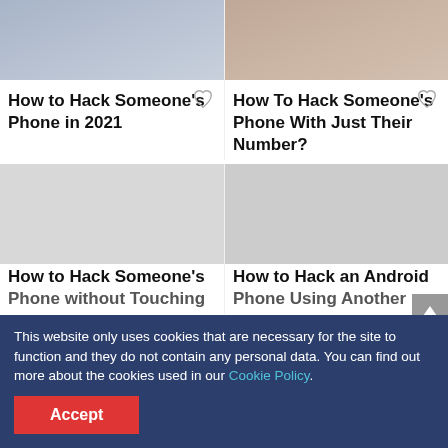[Figure (photo): Photo of person using phone - top left card image]
How to Hack Someone’s Phone in 2021
[Figure (photo): Photo related to phone hacking - top right card image]
How To Hack Someone’s Phone With Just Their Number?
[Figure (photo): Gray placeholder image - bottom left card]
How to Hack Someone’s Phone without Touching
[Figure (photo): Gray placeholder image - bottom right card]
How to Hack an Android Phone Using Another
This website only uses cookies that are necessary for the site to function and they do not contain any personal data. You can find out more about the cookies used in our Cookie Policy.
Accept